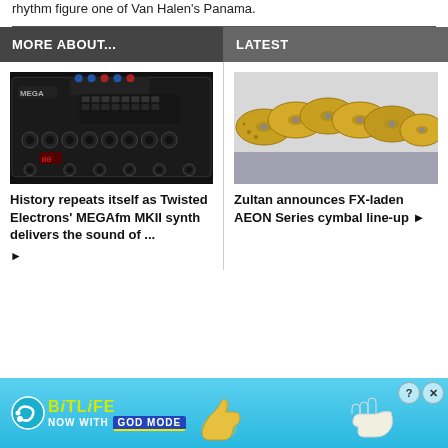rhythm figure one of Van Halen's Panama.
MORE ABOUT...
LATEST
[Figure (photo): A dark electronic synthesizer/modular device with many knobs, buttons, and cable ports — Twisted Electrons MEGAfm MKII synth]
History repeats itself as Twisted Electrons' MEGAfm MKII synth delivers the sound of ... ▶
[Figure (photo): Gold/brass cymbals arranged in a row against a light background — Zultan AEON Series cymbal line-up]
Zultan announces FX-laden AEON Series cymbal line-up ▶
[Figure (illustration): BitLife advertisement banner: teal/blue background with BitLife logo in yellow, text NOW WITH GOD MODE, thumbs-up emoji graphic and pointing hand graphic, with close/question buttons in top right]